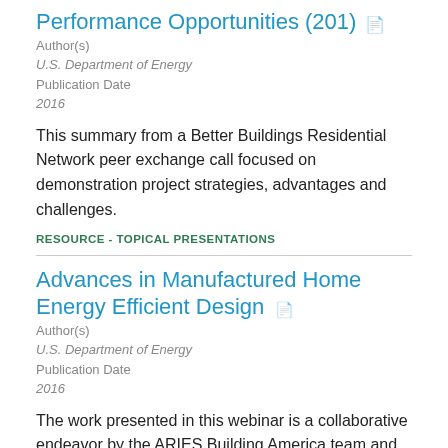Performance Opportunities (201)
Author(s)
U.S. Department of Energy
Publication Date
2016
This summary from a Better Buildings Residential Network peer exchange call focused on demonstration project strategies, advantages and challenges.
RESOURCE - TOPICAL PRESENTATIONS
Advances in Manufactured Home Energy Efficient Design
Author(s)
U.S. Department of Energy
Publication Date
2016
The work presented in this webinar is a collaborative endeavor by the ARIES Building America team and two major affordable housing providers: Habitat for